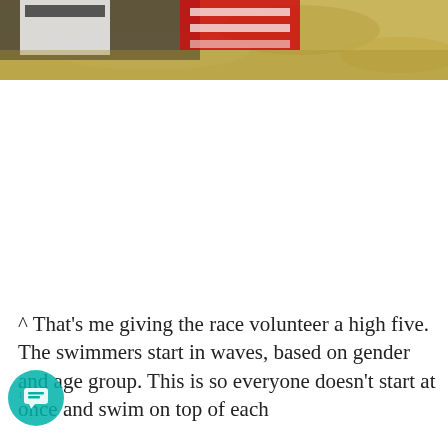[Figure (photo): Partial photo at top of page showing a red and white sign or banner on dry grass/ground, cropped at the top edge.]
^ That's me giving the race volunteer a high five. The swimmers start in waves, based on gender and age group. This is so everyone doesn't start at once and swim on top of each other.